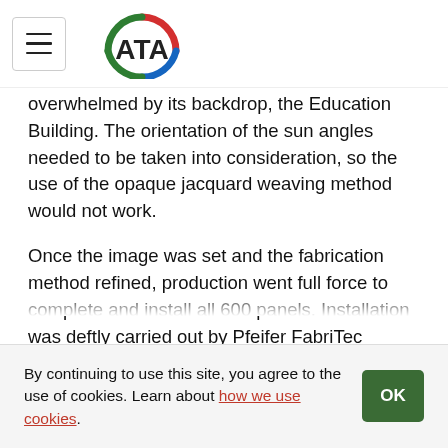ATA (logo)
overwhelmed by its backdrop, the Education Building. The orientation of the sun angles needed to be taken into consideration, so the use of the opaque jacquard weaving method would not work.
Once the image was set and the fabrication method refined, production went full force to complete and install all 600 panels. Installation was deftly carried out by Pfeifer FabriTec Structures using a method of clipping the panels to a stainless-steel taut grid hung from a structural cross channel that connects the tops of the six columns. A compressed completion schedule wrapped up in time for a scheduled May 8 dedication on the 75th anniversary of Victory in Europe Day. However, due to the coronavirus pandemic,
By continuing to use this site, you agree to the use of cookies. Learn about how we use cookies.